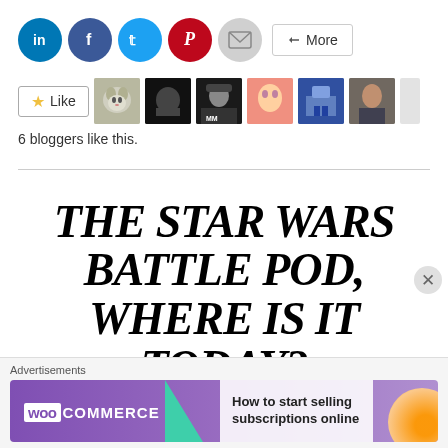[Figure (screenshot): Social share buttons row: LinkedIn (blue circle), Facebook (dark blue circle), Twitter (light blue circle), Pinterest (red circle), Email (gray circle), More button]
[Figure (screenshot): Like button with star icon and 6 blogger avatar thumbnails]
6 bloggers like this.
THE STAR WARS BATTLE POD, WHERE IS IT TODAY?
[Figure (infographic): WooCommerce advertisement banner: 'How to start selling subscriptions online']